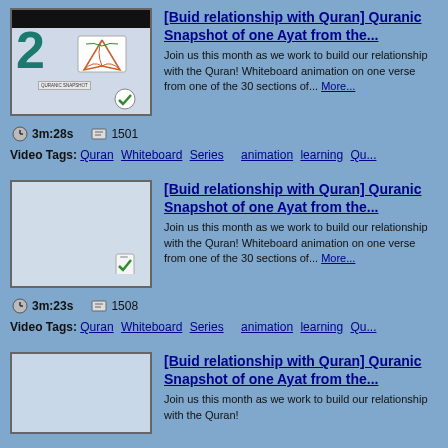[Figure (screenshot): Thumbnail image showing number 2 with an open book icon, a small label reading QURANIC SNAPSHOT, and a green checkmark badge]
[Buid relationship with Quran] Quranic Snapshot of one Ayat from the...
Join us this month as we work to build our relationship with the Quran! Whiteboard animation on one verse from one of the 30 sections of... More...
3m:28s   1501
Video Tags: Quran   Whiteboard   Series      animation   learning   Qu...
[Figure (screenshot): Thumbnail image showing a plain blue-grey background with a mobile phone icon bearing a green checkmark]
[Buid relationship with Quran] Quranic Snapshot of one Ayat from the...
Join us this month as we work to build our relationship with the Quran! Whiteboard animation on one verse from one of the 30 sections of... More...
3m:23s   1508
Video Tags: Quran   Whiteboard   Series      animation   learning   Qu...
[Figure (screenshot): Thumbnail image, partially visible, plain blue-grey background]
[Buid relationship with Quran] Quranic Snapshot of one Ayat from the...
Join us this month as we work to build our relationship with the Quran!